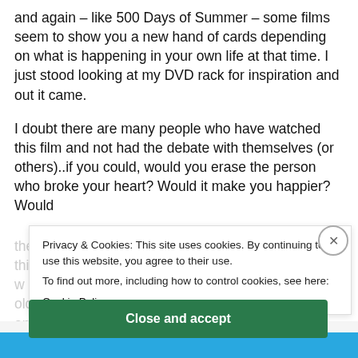and again – like 500 Days of Summer – some films seem to show you a new hand of cards depending on what is happening in your own life at that time. I just stood looking at my DVD rack for inspiration and out it came.
I doubt there are many people who have watched this film and not had the debate with themselves (or others)..if you could, would you erase the person who broke your heart? Would it make you happier? Would
Privacy & Cookies: This site uses cookies. By continuing to use this website, you agree to their use.
To find out more, including how to control cookies, see here:
Cookie Policy
Close and accept